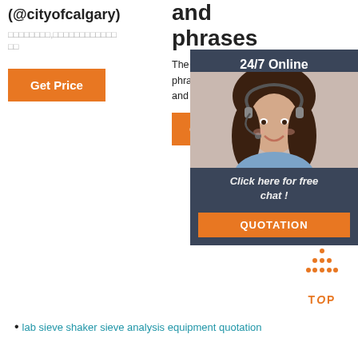(@cityofcalgary)
□□□□□□□□,□□□□□□□□□□□□
□□
Get Price
and phrases
The largest dictionary of idioms and phrases in use in American, Australian and English, 12,000 idioms and ex...
[Figure (photo): Customer service woman with headset smiling, overlaid with dark blue panel showing '24/7 Online' and 'Click here for free chat!' with orange QUOTATION button]
Get
[Figure (other): Orange dotted triangle TOP icon]
lab sieve shaker sieve analysis equipment quotation